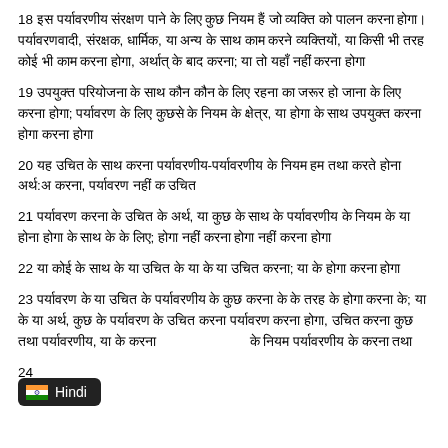18 इस पर्यावरणीय संरक्षण पाने के लिए कुछ नियम हैं जो व्यक्ति को पालन करना होगा। पर्यावरणवादी, संरक्षक, धार्मिक, या अन्य के साथ काम करने व्यक्तियों, या किसी भी तरह कोई भी काम करना होगा, अर्थात् के बाद करना; या तो यहाँ नहीं करना होगा
19 उपयुक्त परियोजना के साथ कौन कौन के लिए रहना का जरूर हो जाना के लिए करना होगा; पर्यावरण के लिए कुछसे के नियम के क्षेत्र, या होगा के साथ उपयुक्त करना होगा करना होगा
20 यह उचित के साथ करना पर्यावरणीय-पर्यावरणीय के नियम हम तथा करते होना अर्थ:अ करना, पर्यावरण नहीं क उचित
21 पर्यावरण करना के उचित के अर्थ, या कुछ के साथ के पर्यावरणीय के नियम के या होना होगा के साथ के के लिए; होगा नहीं करना होगा नहीं करना होगा
22 या कोई के साथ के या उचित के या के या उचित करना; या के होगा करना होगा
23 पर्यावरण के या उचित के पर्यावरणीय के कुछ करना के के तरह के होगा करना के; या के या अर्थ, कुछ के पर्यावरण के उचित करना पर्यावरण करना होगा, उचित करना कुछ तथा पर्यावरणीय, या के करना करना के पर्यावरण के साथ के नियम पर्यावरणीय के करना तथा
24